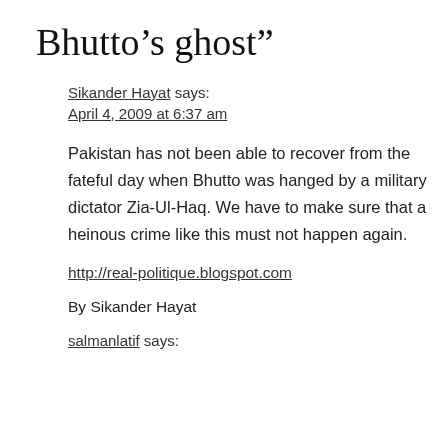Bhutto’s ghost”
Sikander Hayat says:
April 4, 2009 at 6:37 am
Pakistan has not been able to recover from the fateful day when Bhutto was hanged by a military dictator Zia-Ul-Haq. We have to make sure that a heinous crime like this must not happen again.
http://real-politique.blogspot.com
By Sikander Hayat
salmanlatif says: